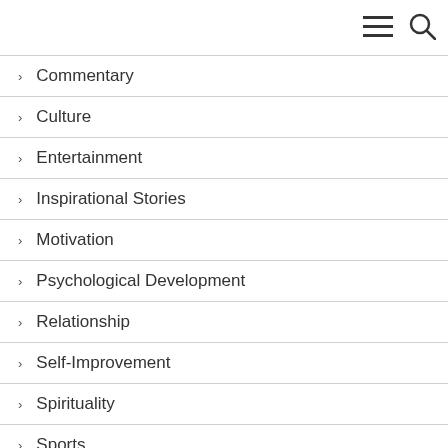[Figure (other): Navigation menu icon (hamburger) and search icon in top-right corner]
Commentary
Culture
Entertainment
Inspirational Stories
Motivation
Psychological Development
Relationship
Self-Improvement
Spirituality
Sports